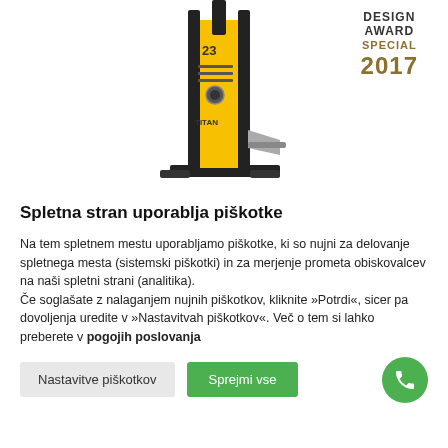[Figure (photo): Yellow log splitter / wood splitting machine (TITAN brand, model 23) with a Design Award Special 2017 badge in the top right corner. The machine is tall, vertical, yellow and black colored.]
Spletna stran uporablja piškotke
Na tem spletnem mestu uporabljamo piškotke, ki so nujni za delovanje spletnega mesta (sistemski piškotki) in za merjenje prometa obiskovalcev na naši spletni strani (analitika).
Če soglašate z nalaganjem nujnih piškotkov, kliknite »Potrdi«, sicer pa dovoljenja uredite v »Nastavitvah piškotkov«. Več o tem si lahko preberete v pogojih poslovanja
Nastavitve piškotkov
Sprejmi vse